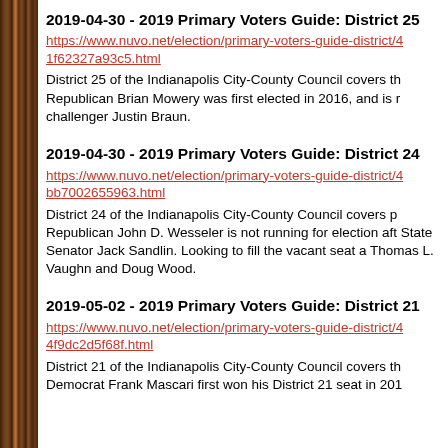2019-04-30 - 2019 Primary Voters Guide: District 25
https://www.nuvo.net/election/primary-voters-guide-district/… 1f62327a93c5.html
District 25 of the Indianapolis City-County Council covers th… Republican Brian Mowery was first elected in 2016, and is… challenger Justin Braun.
2019-04-30 - 2019 Primary Voters Guide: District 24
https://www.nuvo.net/election/primary-voters-guide-district/… bb7002655963.html
District 24 of the Indianapolis City-County Council covers p… Republican John D. Wesseler is not running for election aft… State Senator Jack Sandlin. Looking to fill the vacant seat a… Thomas L. Vaughn and Doug Wood.
2019-05-02 - 2019 Primary Voters Guide: District 21
https://www.nuvo.net/election/primary-voters-guide-district/… 4f9dc2d5f68f.html
District 21 of the Indianapolis City-County Council covers th… Democrat Frank Mascari first won his District 21 seat in 201…